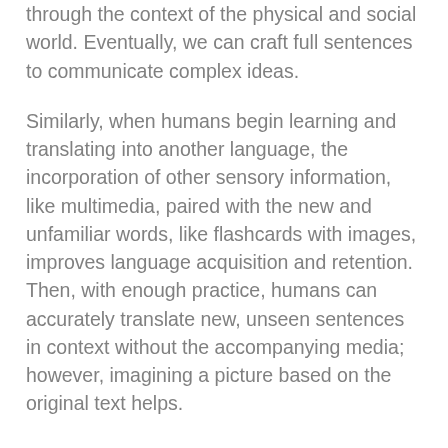through the context of the physical and social world. Eventually, we can craft full sentences to communicate complex ideas.
Similarly, when humans begin learning and translating into another language, the incorporation of other sensory information, like multimedia, paired with the new and unfamiliar words, like flashcards with images, improves language acquisition and retention. Then, with enough practice, humans can accurately translate new, unseen sentences in context without the accompanying media; however, imagining a picture based on the original text helps.